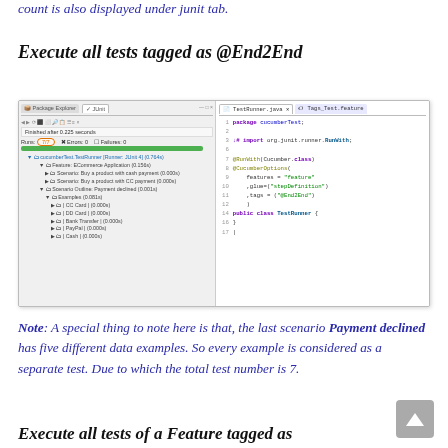count is also displayed under junit tab.
Execute all tests tagged as @End2End
[Figure (screenshot): IDE screenshot showing JUnit test run results on the left (cucumberTest.TestRunner, Run: 7/7, Errors: 0, Failures: 0, with tree of Feature: ECommerce Application scenarios) and Java code editor on the right showing TestRunner.java with @RunWith(Cucumber.class) and @CucumberOptions with features='feature', glue='stepDefinition', tags={'@End2End'}]
Note: A special thing to note here is that, the last scenario Payment declined has five different data examples. So every example is considered as a separate test. Due to which the total test number is 7.
Execute all tests of a Feature tagged as